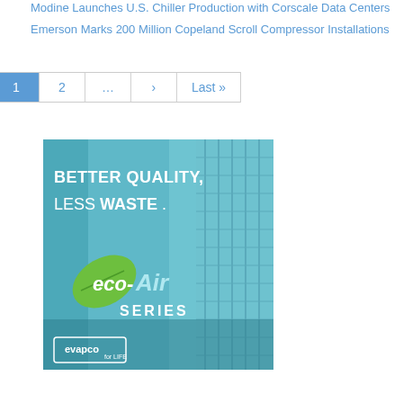Modine Launches U.S. Chiller Production with Corscale Data Centers
Emerson Marks 200 Million Copeland Scroll Compressor Installations
[Figure (illustration): Advertisement for evapco eco-Air Series: teal-tinted photo of industrial HVAC equipment with text 'BETTER QUALITY, LESS WASTE . .' and 'eco-Air SERIES' branding with green leaf logo and evapco for LIFE logo at bottom left.]